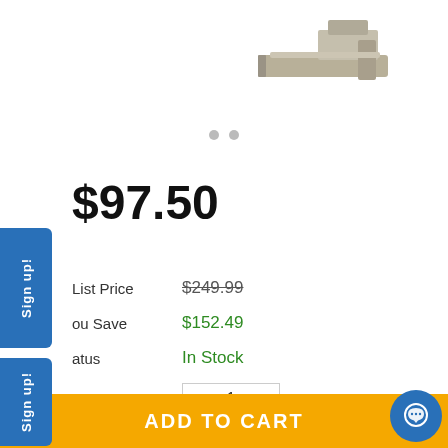[Figure (photo): Partial product photo of a hardware component (appears to be a network card or similar) visible at top right]
$97.50
List Price  $249.99
You Save  $152.49
Status  In Stock
Quantity  1
Add accident protection offered by Extend ?
1 Year  $9.49
2 Year  $16.99
3 Year  $23.99
ADD TO CART